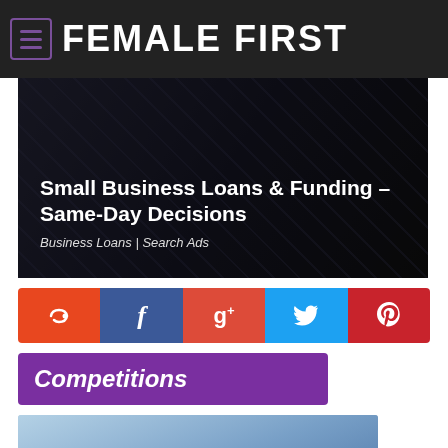FEMALE FIRST
[Figure (photo): Dark advertisement banner showing hands holding money, with text overlay 'Small Business Loans & Funding – Same-Day Decisions' and subtext 'Business Loans | Search Ads']
[Figure (infographic): Social sharing bar with five buttons: StumbleUpon (orange), Facebook (dark blue), Google+ (red-orange), Twitter (light blue), Pinterest (red)]
Competitions
[Figure (photo): Partial image at bottom, appears to be a blueish-grey photo, likely related to competitions section]